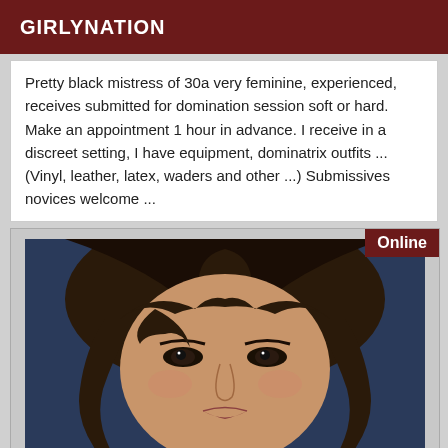GIRLYNATION
Pretty black mistress of 30a very feminine, experienced, receives submitted for domination session soft or hard. Make an appointment 1 hour in advance. I receive in a discreet setting, I have equipment, dominatrix outfits ... (Vinyl, leather, latex, waders and other ...) Submissives novices welcome ...
[Figure (photo): Close-up photo of a young woman with dark hair covering her face partially, looking at the camera. Blue background. An 'Online' badge in dark red appears in the top-right corner.]